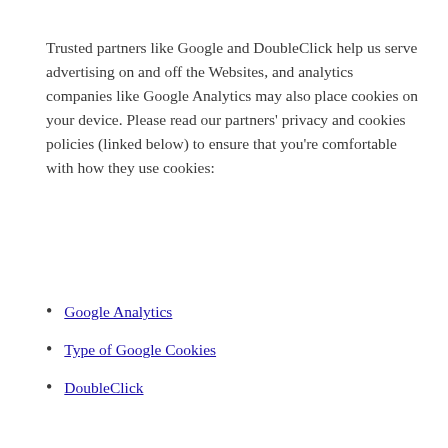Trusted partners like Google and DoubleClick help us serve advertising on and off the Websites, and analytics companies like Google Analytics may also place cookies on your device. Please read our partners' privacy and cookies policies (linked below) to ensure that you're comfortable with how they use cookies:
Google Analytics
Type of Google Cookies
DoubleClick